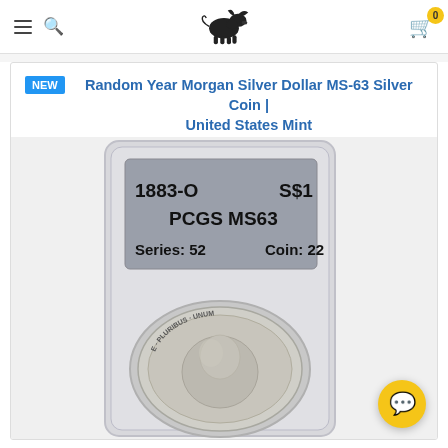Navigation header with hamburger menu, search icon, bull logo, and cart icon with badge 0
NEW  Random Year Morgan Silver Dollar MS-63 Silver Coin | United States Mint
[Figure (photo): Photo of a PCGS-slabbed Morgan Silver Dollar coin. The slab label reads: 1883-O, S$1, PCGS MS63, Series: 52, Coin: 22. The coin shows the obverse/reverse in a clear plastic holder.]